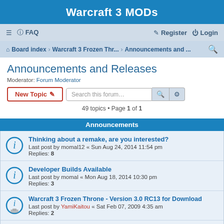Warcraft 3 MODs
≡  FAQ   Register  Login
Board index · Warcraft 3 Frozen Thr... · Announcements and ...
Announcements and Releases
Moderator: Forum Moderator
49 topics • Page 1 of 1
Announcements
Thinking about a remake, are you interested?
Last post by momal12 « Sun Aug 24, 2014 11:54 pm
Replies: 8
Developer Builds Available
Last post by momal « Mon Aug 18, 2014 10:30 pm
Replies: 3
Warcraft 3 Frozen Throne - Version 3.0 RC13 for Download
Last post by YamiKaitou « Sat Feb 07, 2009 4:35 am
Replies: 2
War3FT Moves to SVN - CVS no longer used
Last post by Geesu « Wed Jun 27, 2007 1:56 pm